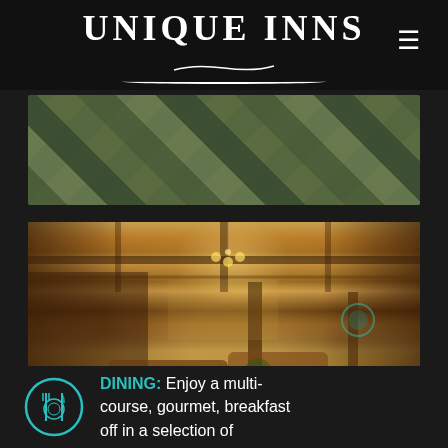UNIQUE INNS
[Figure (photo): Close-up photo of a colorful quilted fabric with diamond/argyle pattern in greens, blues, and grays]
[Figure (photo): Interior photo of an elegant inn lobby/living room with dark wood paneling, coffered ceiling, chandelier, leather furniture including sofas and chairs, a round coffee table with plants, a staircase in the background, and a stained glass artwork on the far wall]
DINING: Enjoy a multi-course, gourmet, breakfast off in a selection of